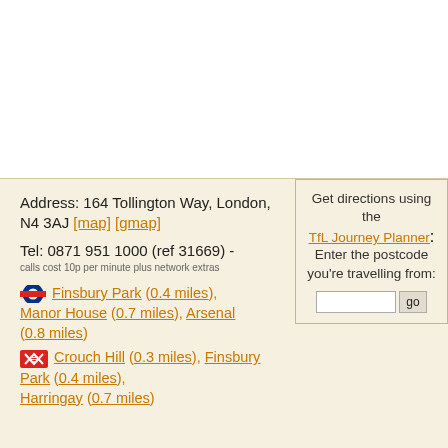Address: 164 Tollington Way, London, N4 3AJ [map] [gmap]
Tel: 0871 951 1000 (ref 31669) -
calls cost 10p per minute plus network extras
Finsbury Park (0.4 miles), Manor House (0.7 miles), Arsenal (0.8 miles)
Crouch Hill (0.3 miles), Finsbury Park (0.4 miles), Harringay (0.7 miles)
Get directions using the TfL Journey Planner: Enter the postcode you're travelling from:
[Figure (other): Postcode input box with go button for TfL Journey Planner]